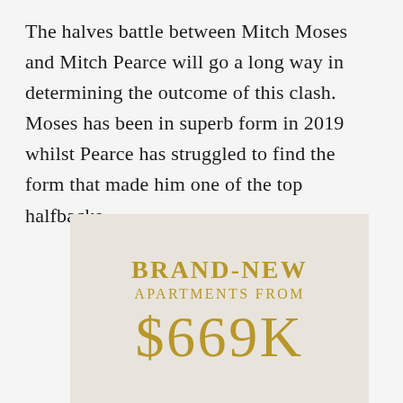The halves battle between Mitch Moses and Mitch Pearce will go a long way in determining the outcome of this clash. Moses has been in superb form in 2019 whilst Pearce has struggled to find the form that made him one of the top halfbacks.
[Figure (infographic): Advertisement banner with light beige background showing 'BRAND-NEW APARTMENTS FROM $669K' in gold text]